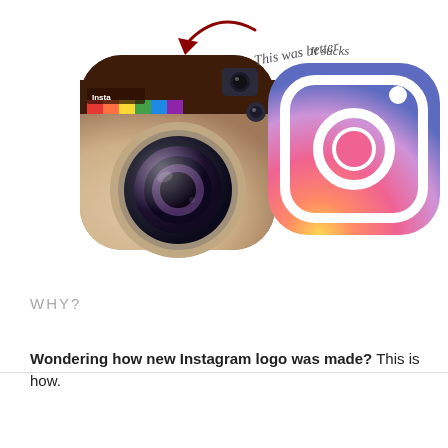[Figure (illustration): Two Instagram logos side by side. Left: the old skeuomorphic camera logo (brown/retro camera with rainbow stripe and lens). Right: the new flat gradient logo (pink/purple/orange gradient with camera outline). A dark red curved arrow points to the old logo with handwritten text 'This was better'. Next to the new logo is handwritten text 'It sucks'.]
WHY?
Wondering how new Instagram logo was made? This is how.